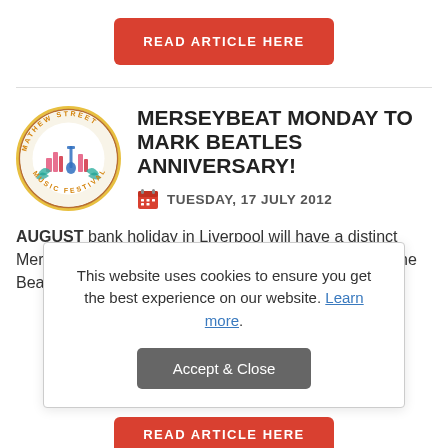READ ARTICLE HERE
[Figure (logo): Mathew Street Music Festival circular logo with colorful cityscape and guitar illustration]
MERSEYBEAT MONDAY TO MARK BEATLES ANNIVERSARY!
TUESDAY, 17 JULY 2012
AUGUST bank holiday in Liverpool will have a distinct Merseybeat feel to celebrate the 50th anniversary of The Beatles. As part of the Mathew Street
This website uses cookies to ensure you get the best experience on our website. Learn more.
Accept & Close
READ ARTICLE HERE